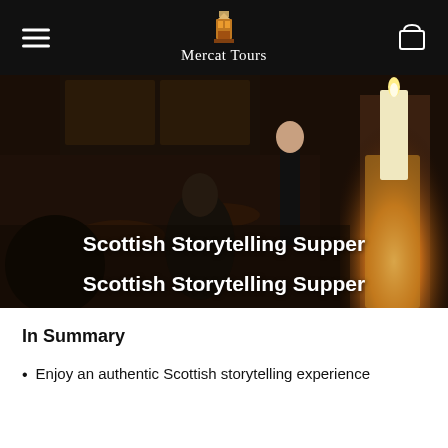Mercat Tours
[Figure (photo): Dimly lit restaurant scene with people seated at tables, a person standing and speaking, and a large lit candle in the foreground. Text overlay reads 'Scottish Storytelling Supper' twice.]
Scottish Storytelling Supper
Scottish Storytelling Supper
In Summary
Enjoy an authentic Scottish storytelling experience